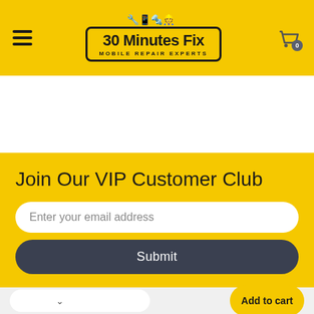[Figure (logo): 30 Minutes Fix - Mobile Repair Experts logo with tools and technician illustration, black border on yellow background]
Join Our VIP Customer Club
Enter your email address
Submit
Add to cart